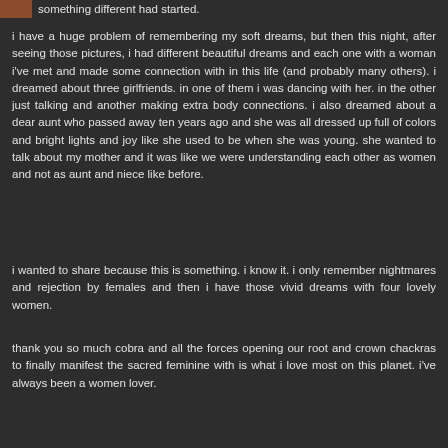something different had started.
i have a huge problem of remembering my soft dreams, but then this night, after seeing those pictures, i had different beautiful dreams and each one with a woman i've met and made some connection with in this life (and probably many others). i dreamed about three girlfriends. in one of them i was dancing with her. in the other just talking and another making extra body connections. i also dreamed about a dear aunt who passed away ten years ago and she was all dressed up full of colors and bright lights and joy like she used to be when she was young. she wanted to talk about my mother and it was like we were understanding each other as women and not as aunt and niece like before.
i wanted to share because this is something. i know it. i only remember nightmares and rejection by females and then i have those vivid dreams with four lovely women.
thank you so much cobra and all the forces opening our root and crown chackras to finally manifest the sacred feminine with is what i love most on this planet. i've always been a women lover.